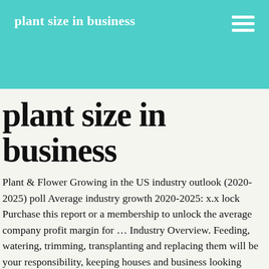plant size in business
plant size in business
Plant & Flower Growing in the US industry outlook (2020-2025) poll Average industry growth 2020-2025: x.x lock Purchase this report or a membership to unlock the average company profit margin for … Industry Overview. Feeding, watering, trimming, transplanting and replacing them will be your responsibility, keeping houses and business looking attractive with welcoming foliage. At the initial stage of its operation a business firm continues to grow towards the optimum size. Since the overhead for indoor plant care is low, you can give this business time to blossom. Economists